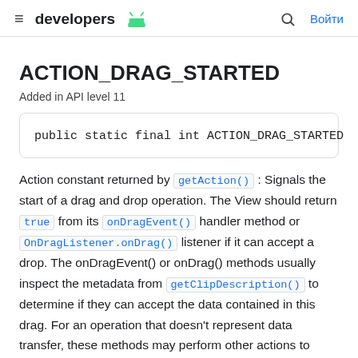≡ developers [android logo] | [search] Войти
ACTION_DRAG_STARTED
Added in API level 11
Action constant returned by getAction() : Signals the start of a drag and drop operation. The View should return true from its onDragEvent() handler method or OnDragListener.onDrag() listener if it can accept a drop. The onDragEvent() or onDrag() methods usually inspect the metadata from getClipDescription() to determine if they can accept the data contained in this drag. For an operation that doesn't represent data transfer, these methods may perform other actions to determine